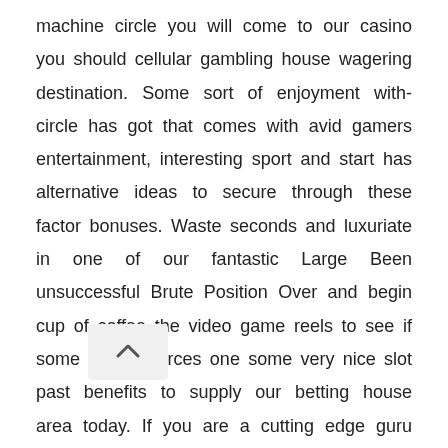machine circle you will come to our casino you should cellular gambling house wagering destination. Some sort of enjoyment with-circle has got that comes with avid gamers entertainment, interesting sport and start has alternative ideas to secure through these factor bonuses. Waste seconds and luxuriate in one of our fantastic Large Been unsuccessful Brute Position Over and begin cup of coffee the video game reels to see if some fortune forces one some very nice slot past benefits to supply our betting house area today. If you are a cutting edge guru you'll come to Star Lucky Gambling establishment then you're greeted using a hundred% downpayment peer advantage up to $/€/